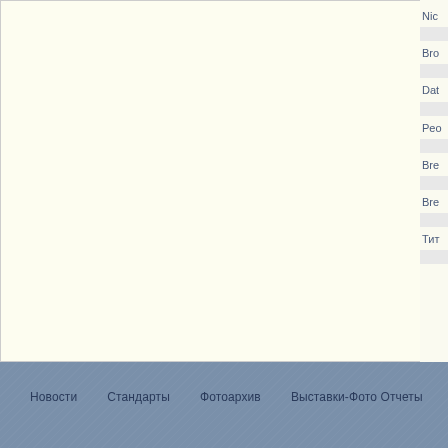[Figure (screenshot): Main content area with cream/off-white background, partially visible sidebar navigation on right edge showing truncated menu items: Nic, Bro, Dat, Peo, Bre, Bre, Тит with divider lines between them]
Новости   Стандарты   Фотоархив   Выставки-Фото Отчеты